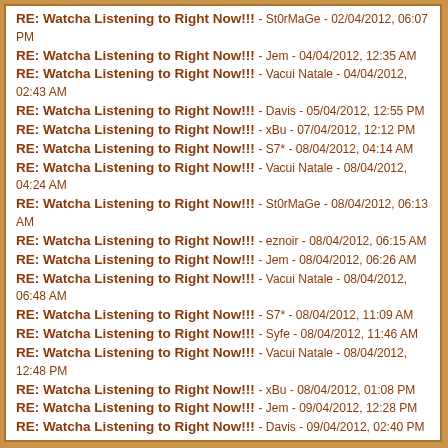RE: Watcha Listening to Right Now!!! - St0rMaGe - 02/04/2012, 06:07 PM
RE: Watcha Listening to Right Now!!! - Jem - 04/04/2012, 12:35 AM
RE: Watcha Listening to Right Now!!! - Vacui Natale - 04/04/2012, 02:43 AM
RE: Watcha Listening to Right Now!!! - Davis - 05/04/2012, 12:55 PM
RE: Watcha Listening to Right Now!!! - xBu - 07/04/2012, 12:12 PM
RE: Watcha Listening to Right Now!!! - S7* - 08/04/2012, 04:14 AM
RE: Watcha Listening to Right Now!!! - Vacui Natale - 08/04/2012, 04:24 AM
RE: Watcha Listening to Right Now!!! - St0rMaGe - 08/04/2012, 06:13 AM
RE: Watcha Listening to Right Now!!! - eznoir - 08/04/2012, 06:15 AM
RE: Watcha Listening to Right Now!!! - Jem - 08/04/2012, 06:26 AM
RE: Watcha Listening to Right Now!!! - Vacui Natale - 08/04/2012, 06:48 AM
RE: Watcha Listening to Right Now!!! - S7* - 08/04/2012, 11:09 AM
RE: Watcha Listening to Right Now!!! - Syfe - 08/04/2012, 11:46 AM
RE: Watcha Listening to Right Now!!! - Vacui Natale - 08/04/2012, 12:48 PM
RE: Watcha Listening to Right Now!!! - xBu - 08/04/2012, 01:08 PM
RE: Watcha Listening to Right Now!!! - Jem - 09/04/2012, 12:28 PM
RE: Watcha Listening to Right Now!!! - Davis - 09/04/2012, 02:40 PM
RE: Watcha Listening to Right Now!!! - Jem - 10/04/2012, 02:01 AM